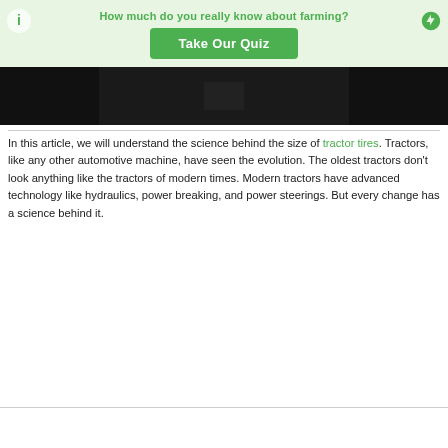How much do you really know about farming?
[Figure (screenshot): Green banner with 'Take Our Quiz' button, logo icons on left and right]
[Figure (photo): Dark/black image area, likely a video thumbnail of a tractor]
In this article, we will understand the science behind the size of tractor tires. Tractors, like any other automotive machine, have seen the evolution. The oldest tractors don't look anything like the tractors of modern times. Modern tractors have advanced technology like hydraulics, power breaking, and power steerings. But every change has a science behind it.